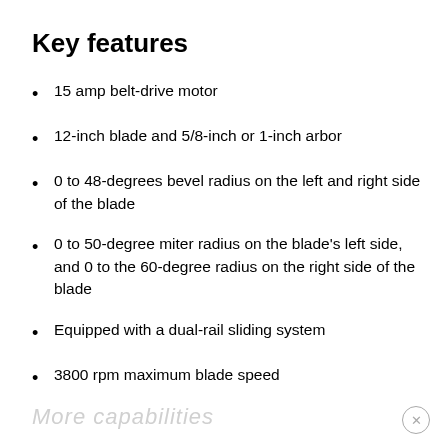Key features
15 amp belt-drive motor
12-inch blade and 5/8-inch or 1-inch arbor
0 to 48-degrees bevel radius on the left and right side of the blade
0 to 50-degree miter radius on the blade's left side, and 0 to the 60-degree radius on the right side of the blade
Equipped with a dual-rail sliding system
3800 rpm maximum blade speed